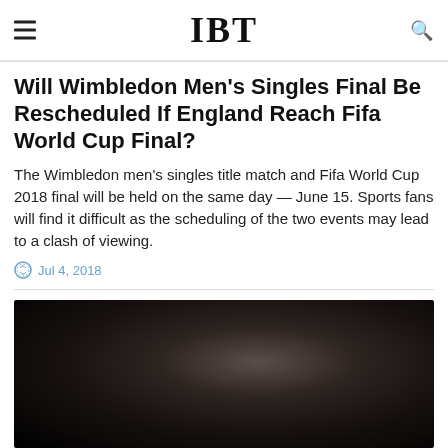IBT
Will Wimbledon Men's Singles Final Be Rescheduled If England Reach Fifa World Cup Final?
The Wimbledon men's singles title match and Fifa World Cup 2018 final will be held on the same day — June 15. Sports fans will find it difficult as the scheduling of the two events may lead to a clash of viewing.
Jul 4, 2018
[Figure (photo): Dark photograph, nearly black, with a faint light source visible in the center-right area suggesting a dimly lit scene.]